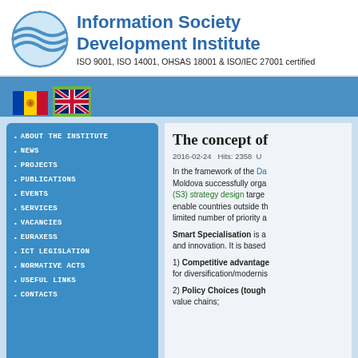[Figure (logo): Information Society Development Institute logo — circular globe with wave lines in blue, with organization name in blue bold text and ISO certification line below]
ISO 9001, ISO 14001, OHSAS 18001 & ISO/IEC 27001 certified
[Figure (infographic): Navigation bar with Moldova flag and UK flag icons on a blue background with green active tab]
ABOUT THE INSTITUTE
NEWS
PROJECTS
PUBLICATIONS
EVENTS
SERVICES
VACANCIES
EURAXESS
ICT LEGISLATION
NORMATIVE ACTS
USEFUL LINKS
CONTACTS
The concept of
2016-02-24   Hits: 2358   U
In the framework of the Da Moldova successfully orga (S3) strategy design targe enable countries outside th limited number of priority a
Smart Specialisation is a and innovation. It is based
1) Competitive advantage for diversification/modernis
2) Policy Choices (tough value chains;